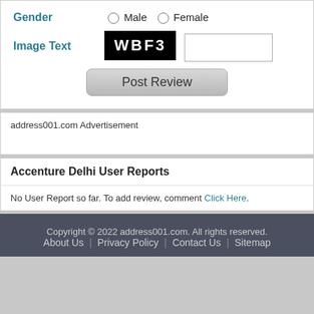Gender  ○ Male  ○ Female
Image Text  WBF3  [input field]
Post Review
address001.com Advertisement
Accenture Delhi User Reports
No User Report so far. To add review, comment Click Here.
Copyright © 2022 address001.com. All rights reserved.
About Us | Privacy Policy | Contact Us | Sitemap